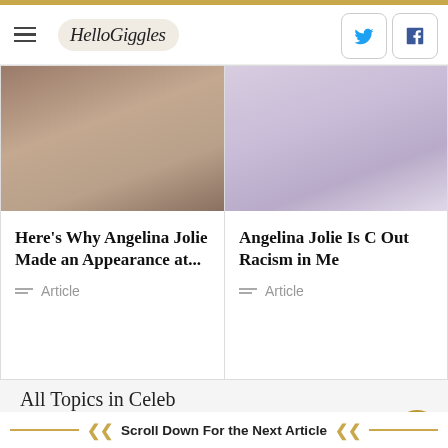HelloGiggles
[Figure (photo): Left article card: photo of a person, partially visible, close-up of neck/chest area in neutral tones. Article title: Here's Why Angelina Jolie Made an Appearance at... Article type: Article]
[Figure (photo): Right article card: photo of a person in a lavender/purple outfit. Article title: Angelina Jolie Is C... Out Racism in Me. Article type: Article]
All Topics in Celeb
CELEBRITY COUPLES
CELEB
Scroll Down For the Next Article